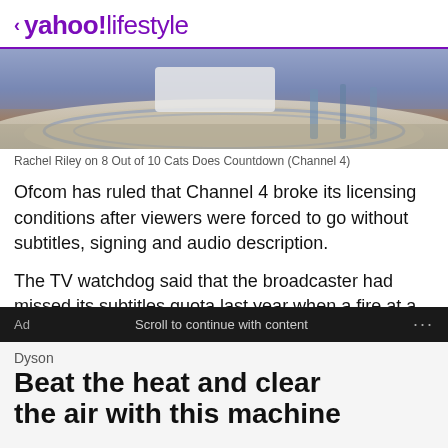< yahoo!lifestyle
[Figure (photo): TV studio stage set photo, partial view showing curved desk/stage area with blue and purple lighting, from 8 Out of 10 Cats Does Countdown (Channel 4)]
Rachel Riley on 8 Out of 10 Cats Does Countdown (Channel 4)
Ofcom has ruled that Channel 4 broke its licensing conditions after viewers were forced to go without subtitles, signing and audio description.
The TV watchdog said that the broadcaster had missed its subtitles quota last year when a fire at a broadcast centre disrupted their services.
Ad   Scroll to continue with content   ...
Dyson
Beat the heat and clear the air with this machine